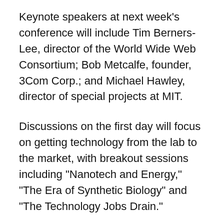Keynote speakers at next week's conference will include Tim Berners-Lee, director of the World Wide Web Consortium; Bob Metcalfe, founder, 3Com Corp.; and Michael Hawley, director of special projects at MIT.
Discussions on the first day will focus on getting technology from the lab to the market, with breakout sessions including "Nanotech and Energy," "The Era of Synthetic Biology" and "The Technology Jobs Drain."
Discussions the second day will focus on "Emerging Technologies That Will Change the World: The Innovator View." Speakers will include Steve Wozniak, co-founder of Apple Computer, and J. Craig Venter, president, The Center for the Advancement of